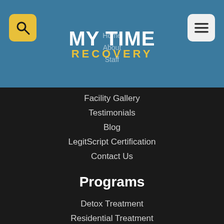[Figure (logo): My Time Recovery logo with teal background, yellow search icon on left, hamburger menu icon on right, white MY TIME text and yellow RECOVERY text in center]
Home
About
Staff
Facility Gallery
Testimonials
Blog
LegitScript Certification
Contact Us
Programs
Detox Treatment
Residential Treatment
Day Treatment
Age-Specific Outpatient
Evening IOP Treatment
Mental Health Treatment
Veteran Assistance